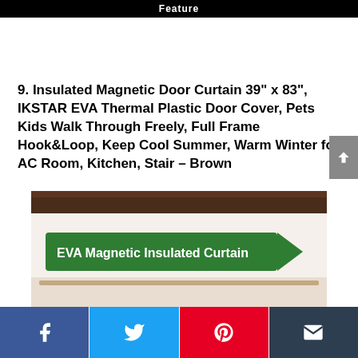Feature
9. Insulated Magnetic Door Curtain 39" x 83", IKSTAR EVA Thermal Plastic Door Cover, Pets Kids Walk Through Freely, Full Frame Hook&Loop, Keep Cool Summer, Warm Winter for AC Room, Kitchen, Stair – Brown
[Figure (photo): Product image of brown EVA Magnetic Insulated Curtain packaging with green banner label reading 'EVA Magnetic Insulated Curtain']
Facebook | Twitter | Pinterest | Email share buttons